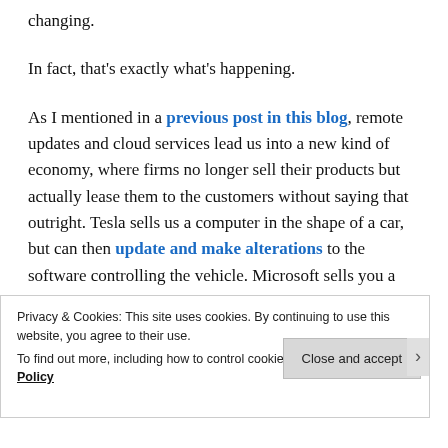changing.
In fact, that's exactly what's happening.
As I mentioned in a previous post in this blog, remote updates and cloud services lead us into a new kind of economy, where firms no longer sell their products but actually lease them to the customers without saying that outright. Tesla sells us a computer in the shape of a car, but can then update and make alterations to the software controlling the vehicle. Microsoft sells you a Windows operating system, and can badger you for
Privacy & Cookies: This site uses cookies. By continuing to use this website, you agree to their use.
To find out more, including how to control cookies, see here: Cookie Policy
Close and accept